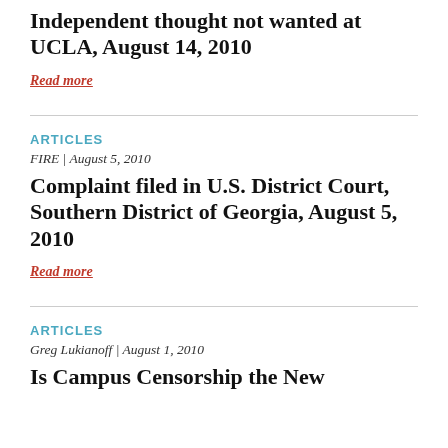Independent thought not wanted at UCLA, August 14, 2010
Read more
ARTICLES
FIRE | August 5, 2010
Complaint filed in U.S. District Court, Southern District of Georgia, August 5, 2010
Read more
ARTICLES
Greg Lukianoff | August 1, 2010
Is Campus Censorship the New